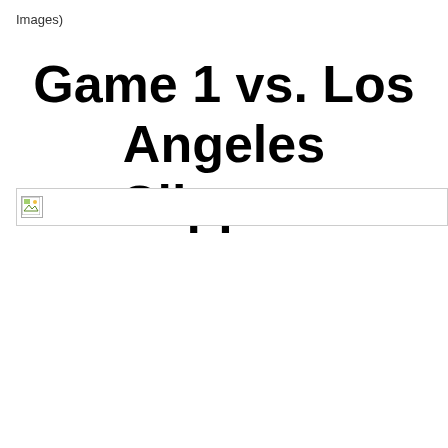Images)
Game 1 vs. Los Angeles Clippers
[Figure (photo): Broken image placeholder with small icon in top-left corner]